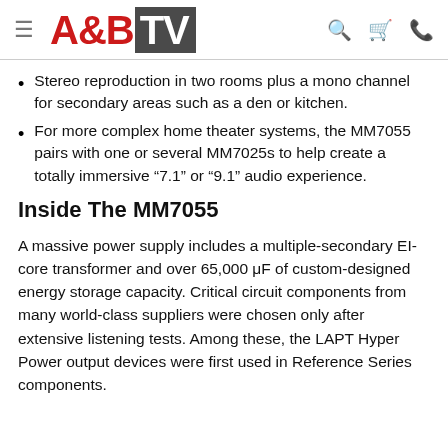A&B TV (logo with hamburger menu, search, cart, phone icons)
Stereo reproduction in two rooms plus a mono channel for secondary areas such as a den or kitchen.
For more complex home theater systems, the MM7055 pairs with one or several MM7025s to help create a totally immersive “7.1” or “9.1” audio experience.
Inside The MM7055
A massive power supply includes a multiple-secondary EI-core transformer and over 65,000 μF of custom-designed energy storage capacity. Critical circuit components from many world-class suppliers were chosen only after extensive listening tests. Among these, the LAPT Hyper Power output devices were first used in Reference Series components.